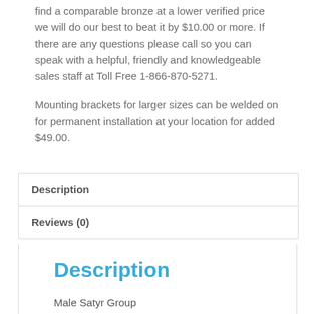find a comparable bronze at a lower verified price we will do our best to beat it by $10.00 or more. If there are any questions please call so you can speak with a helpful, friendly and knowledgeable sales staff at Toll Free 1-866-870-5271.
Mounting brackets for larger sizes can be welded on for permanent installation at your location for added $49.00.
| Description |
| Reviews (0) |
Description
Male Satyr Group
by Clodion